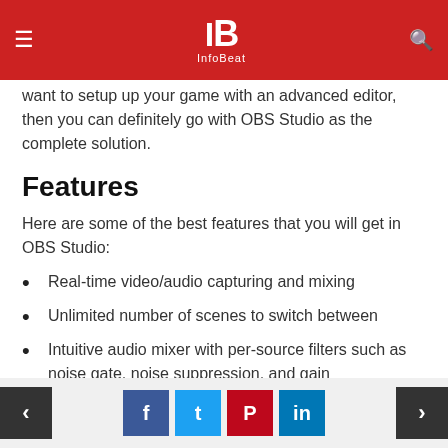InfoBeat
want to setup up your game with an advanced editor, then you can definitely go with OBS Studio as the complete solution.
Features
Here are some of the best features that you will get in OBS Studio:
Real-time video/audio capturing and mixing
Unlimited number of scenes to switch between
Intuitive audio mixer with per-source filters such as noise gate, noise suppression, and gain
Powerful and easy to use configuration options
Arrange the layouts as you want